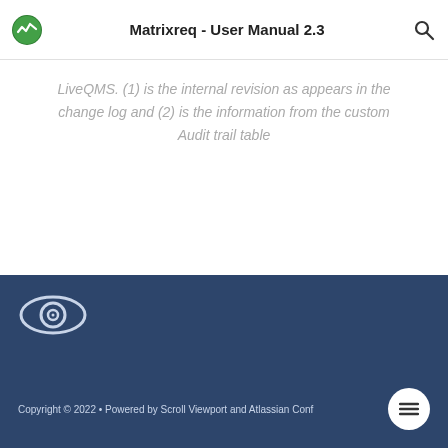Matrixreq - User Manual 2.3
LiveQMS. (1) is the internal revision as appears in the change log and (2) is the information from the custom Audit trail table
[Figure (logo): Scroll Viewport eye/camera icon in footer on dark blue background]
Copyright © 2022 • Powered by Scroll Viewport and Atlassian Conf